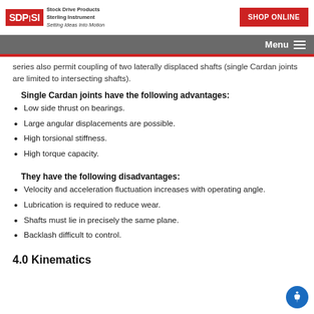SDP/SI — Stock Drive Products Sterling Instrument — Setting Ideas Into Motion | SHOP ONLINE | Menu
series also permit coupling of two laterally displaced shafts (single Cardan joints are limited to intersecting shafts).
Single Cardan joints have the following advantages:
Low side thrust on bearings.
Large angular displacements are possible.
High torsional stiffness.
High torque capacity.
They have the following disadvantages:
Velocity and acceleration fluctuation increases with operating angle.
Lubrication is required to reduce wear.
Shafts must lie in precisely the same plane.
Backlash difficult to control.
4.0 Kinematics